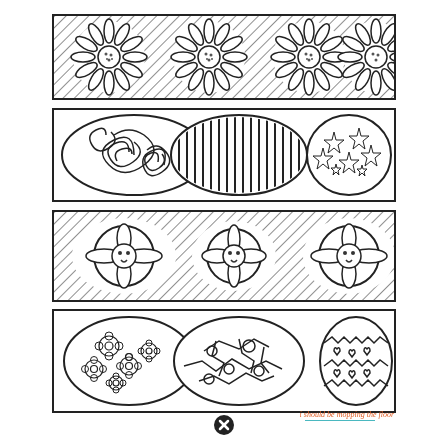[Figure (illustration): Coloring page with four horizontal bookmark strips. Strip 1: diagonal hatching background with four daisy/sunflower designs. Strip 2: three large decorative eggs/circles - one with swirls, one with vertical lines, one with stars. Strip 3: diagonal hatching background with three decorative buttons/flowers. Strip 4: three large decorative Easter eggs - one with flowers, one with cracks/patches, one with zigzag hearts.]
i should be mopping the floor
[Figure (other): Close/X button icon at bottom center]